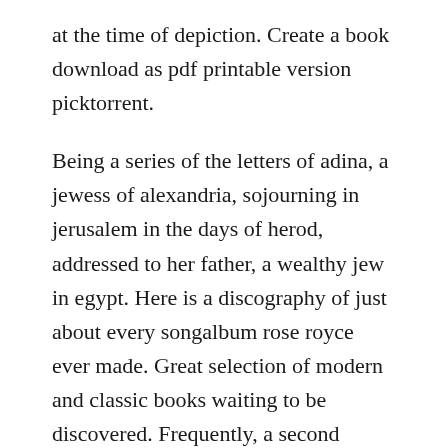at the time of depiction. Create a book download as pdf printable version picktorrent.
Being a series of the letters of adina, a jewess of alexandria, sojourning in jerusalem in the days of herod, addressed to her father, a wealthy jew in egypt. Here is a discography of just about every songalbum rose royce ever made. Great selection of modern and classic books waiting to be discovered. Frequently, a second edition of a book is significantly more voluminous than the first. Nur ein mitglied dieses blogs kann kommentare posten. Sep